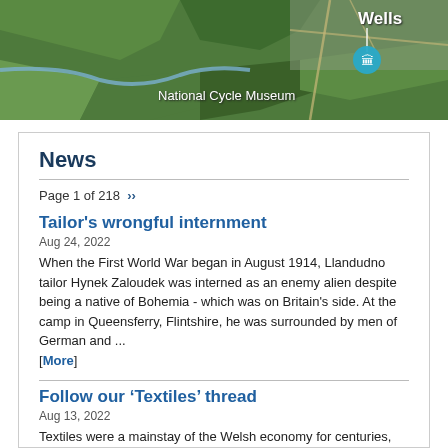[Figure (map): Aerial/satellite map view showing Wells area with National Cycle Museum marker]
News
Page 1 of 218 ›››
Tailor's wrongful internment
Aug 24, 2022
When the First World War began in August 1914, Llandudno tailor Hynek Zaloudek was interned as an enemy alien despite being a native of Bohemia - which was on Britain's side. At the camp in Queensferry, Flintshire, he was surrounded by men of German and ... [More]
Follow our ‘Textiles’ thread
Aug 13, 2022
Textiles were a mainstay of the Welsh economy for centuries, and now you can discover many of the industry's stories by scanning our